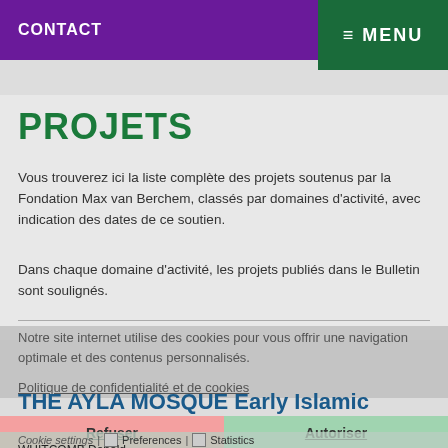CONTACT
≡ MENU
PROJETS
Vous trouverez ici la liste complète des projets soutenus par la Fondation Max van Berchem, classés par domaines d'activité, avec indication des dates de ce soutien.
Dans chaque domaine d'activité, les projets publiés dans le Bulletin sont soulignés.
Notre site internet utilise des cookies pour vous offrir une navigation optimale et des contenus personnalisés.
Politique de confidentialité et de cookies
THE AYLA MOSQUE Early Islamic Remains in Aqaba, Jordan | 1994
Refuser
Autoriser
Cookie settings
ARCHEOLOGIE / ARCHAEOLOGY
WHITCOMB Donald
Necessary | Preferences | Statistics